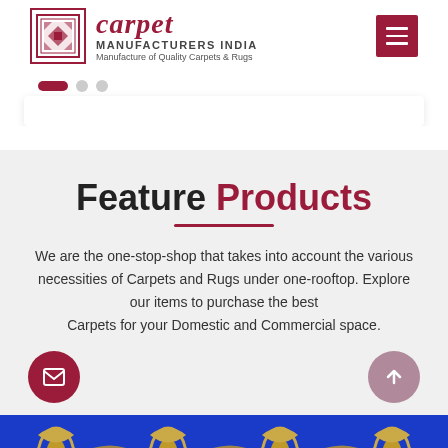[Figure (logo): Carpet Manufacturers India logo with decorative carpet icon and text: Manufacture of Quality Carpets & Rugs]
[Figure (other): Carousel navigation dots: one active pill-shaped dot in dark red, two inactive grey circles]
Feature Products
We are the one-stop-shop that takes into account the various necessities of Carpets and Rugs under one-rooftop. Explore our items to purchase the best Carpets for your Domestic and Commercial space.
[Figure (photo): Blue decorative carpet/rug with gold floral arabesque pattern]